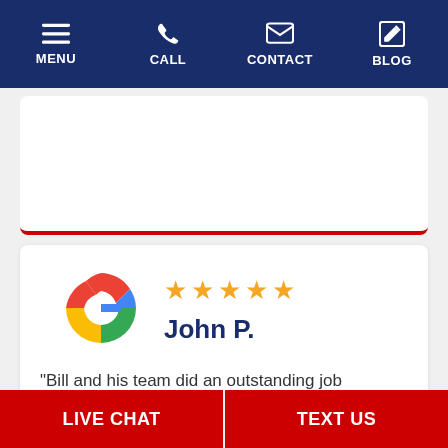MENU | CALL | CONTACT | BLOG
[Figure (screenshot): Partially visible review card with red bottom border]
[Figure (other): Google G logo with 5 gold stars and reviewer name John P.]
"Bill and his team did an outstanding job
LIVE CHAT | TEXT US